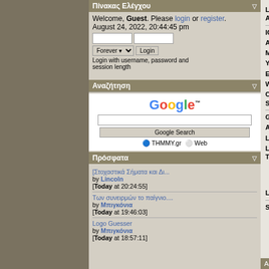Πίνακας Ελέγχου
Welcome, Guest. Please login or register. August 24, 2022, 20:44:45 pm
Login with username, password and session length
Αναζήτηση
[Figure (logo): Google logo with trademark symbol]
Google Search | THMMY.gr | Web
Πρόσφατα
[Στοχαστικά Σήματα και Δι... by Lincoln [Today at 20:24:55]
Των συνειρμών το παίγνιο.... by Μπιγκόνια [Today at 19:46:03]
Logo Guesser by Μπιγκόνια [Today at 18:57:11]
Last Active: Today at 18:43:44
ICQ:
AIM:
MSN:
YIM:
Email: hidden
Website:
Current Status: Offline
Gender: Female
Age: N/A
Location:
Local Time: August 24, 2022, 20:44:45 pm
Language:
Signature:
Additional Information: